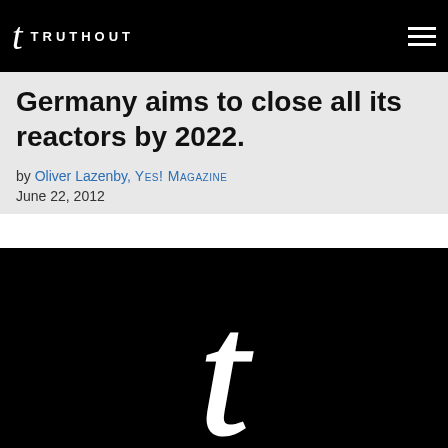t TRUTHOUT
Germany aims to close all its reactors by 2022.
by Oliver Lazenby, YES! MAGAZINE
June 22, 2012
[Figure (logo): Large white Truthout 't' logo on black background]